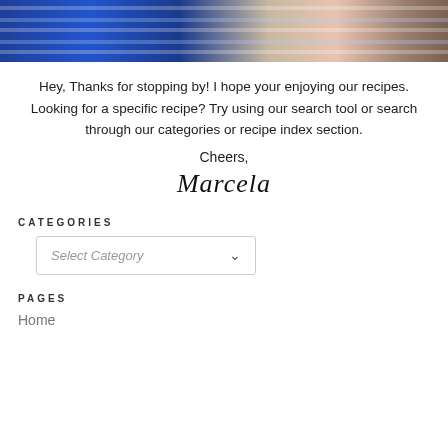[Figure (photo): Photo strip showing people wearing striped clothing with bracelets on wrists, cropped at top of page]
Hey, Thanks for stopping by! I hope your enjoying our recipes. Looking for a specific recipe? Try using our search tool or search through our categories or recipe index section.
Cheers,
Marcela
CATEGORIES
Select Category
PAGES
Home